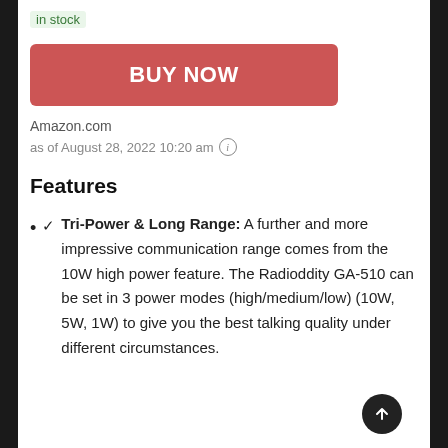in stock
[Figure (other): BUY NOW button in red/salmon color]
Amazon.com
as of August 28, 2022 10:20 am ⓘ
Features
✓ Tri-Power & Long Range: A further and more impressive communication range comes from the 10W high power feature. The Radioddity GA-510 can be set in 3 power modes (high/medium/low) (10W, 5W, 1W) to give you the best talking quality under different circumstances.